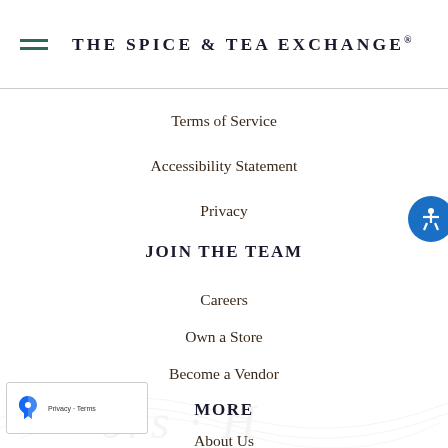THE SPICE & TEA EXCHANGE®
Terms of Service
Accessibility Statement
Privacy
JOIN THE TEAM
Careers
Own a Store
Become a Vendor
MORE
About Us